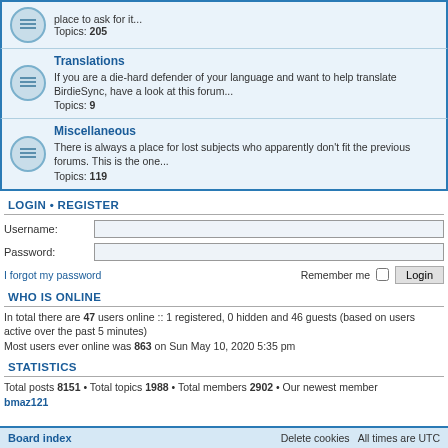place to ask for it... Topics: 205
Translations
If you are a die-hard defender of your language and want to help translate BirdieSync, have a look at this forum... Topics: 9
Miscellaneous
There is always a place for lost subjects who apparently don't fit the previous forums. This is the one... Topics: 119
LOGIN • REGISTER
Username:
Password:
I forgot my password
Remember me  Login
WHO IS ONLINE
In total there are 47 users online :: 1 registered, 0 hidden and 46 guests (based on users active over the past 5 minutes)
Most users ever online was 863 on Sun May 10, 2020 5:35 pm
STATISTICS
Total posts 8151 • Total topics 1988 • Total members 2902 • Our newest member bmaz121
Board index    Delete cookies   All times are UTC